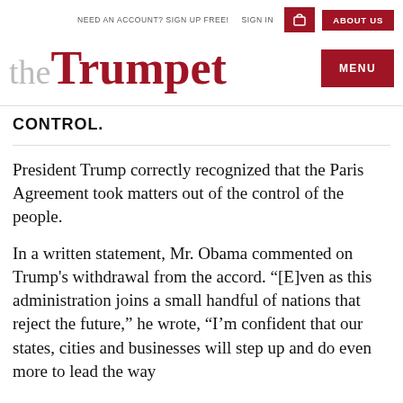NEED AN ACCOUNT? SIGN UP FREE!   SIGN IN   [cart icon]   ABOUT US   [logo: theTrumpet]   MENU
CONTROL.
President Trump correctly recognized that the Paris Agreement took matters out of the control of the people.
In a written statement, Mr. Obama commented on Trump's withdrawal from the accord. “[E]ven as this administration joins a small handful of nations that reject the future,” he wrote, “I’m confident that our states, cities and businesses will step up and do even more to lead the way